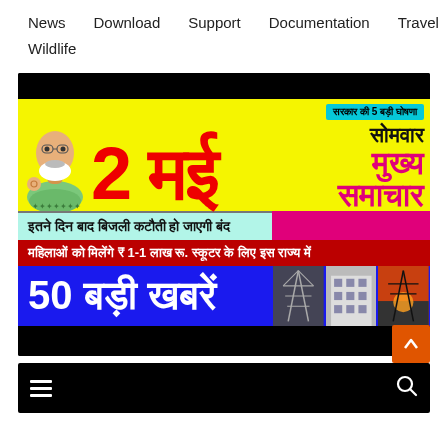News   Download   Support   Documentation   Travel   Wildlife
[Figure (screenshot): Hindi news banner thumbnail showing '2 मई' in large red text on yellow background, with image of PM Modi, text 'सरकार की 5 बड़ी घोषणा', 'सोमवार', 'मुख्य समाचार', 'इतने दिन बाद बिजली कटौती हो जाएगी बंद', 'महिलाओं को मिलेंगे ₹ 1-1 लाख रू. स्कूटर के लिए इस राज्य में', '50 बड़ी खबरें' with electricity tower images]
[Figure (screenshot): Bottom partial banner, dark background with hamburger menu icon visible]